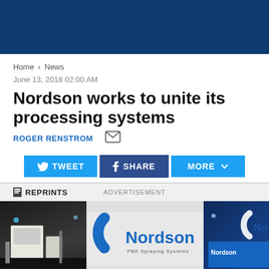[Figure (other): Dark navy blue header banner]
Home > News
June 13, 2018 02:00 AM
Nordson works to unite its processing systems
ROGER RENSTROM
[Figure (other): Social sharing buttons: TWEET, SHARE, MORE]
REPRINTS
ADVERTISEMENT
[Figure (photo): Nordson exhibition booth photo showing Nordson logo and processing equipment]